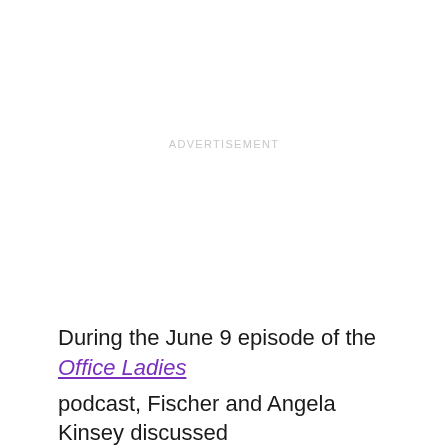ADVERTISEMENT
During the June 9 episode of the Office Ladies podcast, Fischer and Angela Kinsey discussed